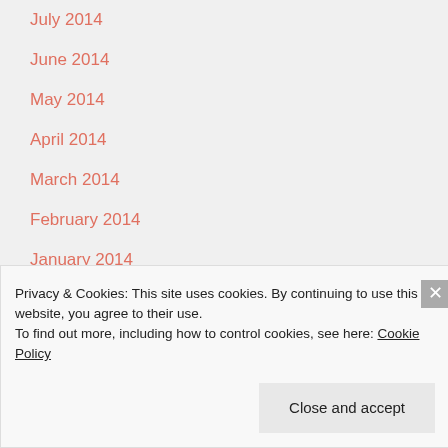July 2014
June 2014
May 2014
April 2014
March 2014
February 2014
January 2014
PHOTOGRAMS
Privacy & Cookies: This site uses cookies. By continuing to use this website, you agree to their use.
To find out more, including how to control cookies, see here: Cookie Policy
Close and accept